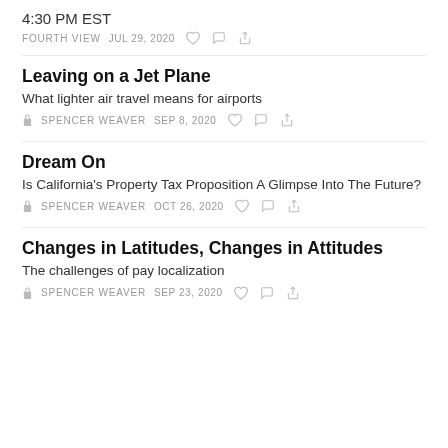4:30 PM EST
FOURTH VIEW   JUL 29, 2020
Leaving on a Jet Plane
What lighter air travel means for airports
SPENCER WEAVER   SEP 8, 2020
Dream On
Is California's Property Tax Proposition A Glimpse Into The Future?
SPENCER WEAVER   OCT 26, 2020
Changes in Latitudes, Changes in Attitudes
The challenges of pay localization
SPENCER WEAVER   SEP 23, 2020